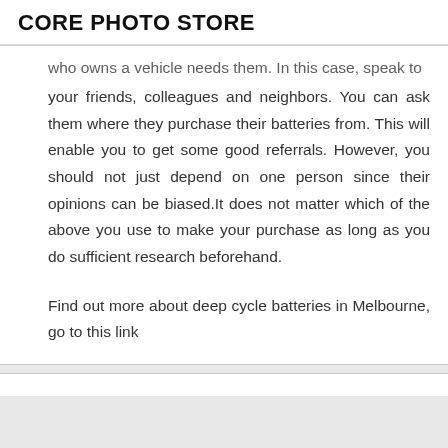CORE PHOTO STORE
who owns a vehicle needs them. In this case, speak to your friends, colleagues and neighbors. You can ask them where they purchase their batteries from. This will enable you to get some good referrals. However, you should not just depend on one person since their opinions can be biased.It does not matter which of the above you use to make your purchase as long as you do sufficient research beforehand.
Find out more about deep cycle batteries in Melbourne, go to this link